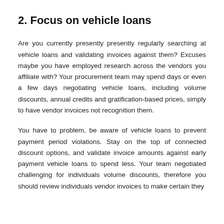2. Focus on vehicle loans
Are you currently presently presently regularly searching at vehicle loans and validating invoices against them? Excuses maybe you have employed research across the vendors you affiliate with? Your procurement team may spend days or even a few days negotiating vehicle loans, including volume discounts, annual credits and gratification-based prices, simply to have vendor invoices not recognition them.
You have to problem, be aware of vehicle loans to prevent payment period violations. Stay on the top of connected discount options, and validate invoice amounts against early payment vehicle loans to spend less. Your team negotiated challenging for individuals volume discounts, therefore you should review individuals vendor invoices to make certain they